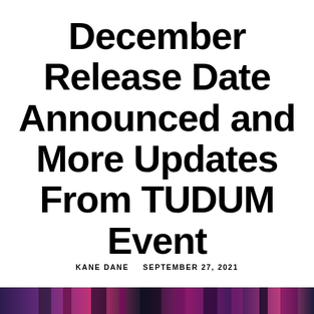December Release Date Announced and More Updates From TUDUM Event
KANE DANE   SEPTEMBER 27, 2021
[Figure (photo): Colorful banner image at the bottom of the page with purple, pink, and dark tones]